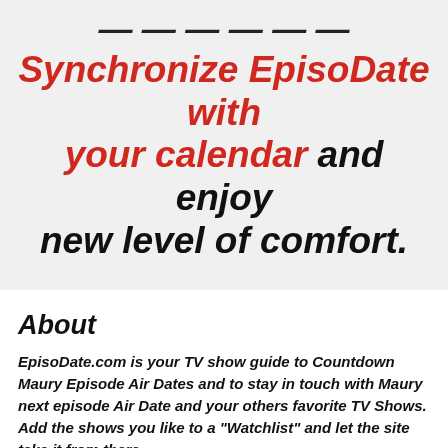Synchronize EpisoDate with your calendar and enjoy new level of comfort.
About
EpisoDate.com is your TV show guide to Countdown Maury Episode Air Dates and to stay in touch with Maury next episode Air Date and your others favorite TV Shows. Add the shows you like to a "Watchlist" and let the site take it from there.
Follow us on: